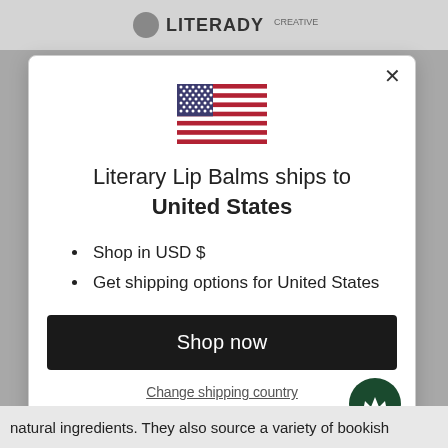Literary Lip Balms (website header with logo)
[Figure (illustration): US flag SVG illustration centered in modal]
Literary Lip Balms ships to United States
Shop in USD $
Get shipping options for United States
Shop now
Change shipping country
natural ingredients. They also source a variety of bookish